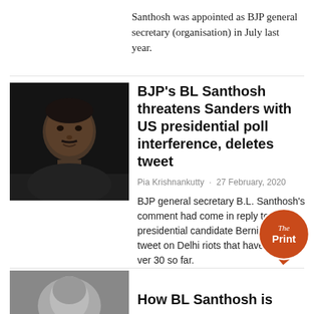Santhosh was appointed as BJP general secretary (organisation) in July last year.
[Figure (photo): Portrait photo of BL Santhosh, a man in dark clothing against a dark background]
BJP’s BL Santhosh threatens Sanders with US presidential poll interference, deletes tweet
Pia Krishnankutty · 27 February, 2020
BJP general secretary B.L. Santhosh’s comment had come in reply to US presidential candidate Bernie Sanders’ tweet on Delhi riots that have killed over 30 so far.
[Figure (logo): The Print circular logo in orange/red]
[Figure (photo): Partial portrait photo at bottom of page]
How BL Santhosh is